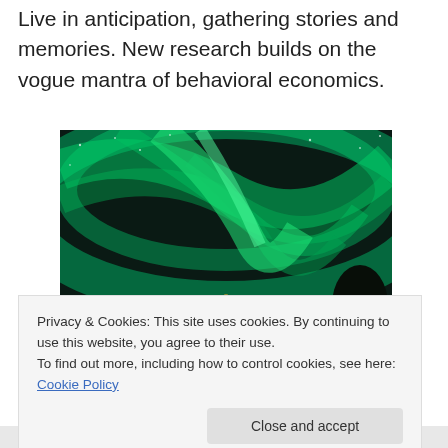Live in anticipation, gathering stories and memories. New research builds on the vogue mantra of behavioral economics.
[Figure (photo): Aurora borealis (northern lights) glowing green across a night sky, with a building with warm lights visible at bottom center and a dark tree silhouette at bottom right.]
Privacy & Cookies: This site uses cookies. By continuing to use this website, you agree to their use.
To find out more, including how to control cookies, see here: Cookie Policy
Close and accept